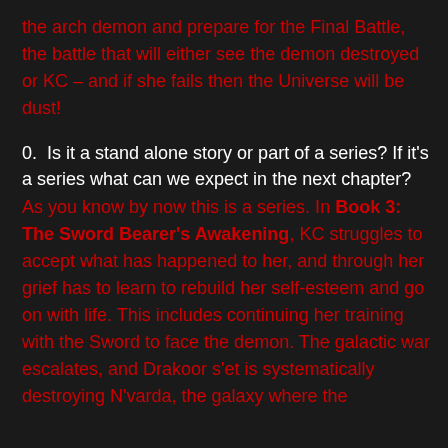the arch demon and prepare for the Final Battle, the battle that will either see the demon destroyed or KC – and if she fails then the Universe will be dust!
0.  Is it a stand alone story or part of a series? If it's a series what can we expect in the next chapter?
As you know by now this is a series. In Book 3: The Sword Bearer's Awakening, KC struggles to accept what has happened to her, and through her grief has to learn to rebuild her self-esteem and go on with life. This includes continuing her training with the Sword to face the demon. The galactic war escalates, and Drakoor s'et is systematically destroying N'varda, the galaxy where the